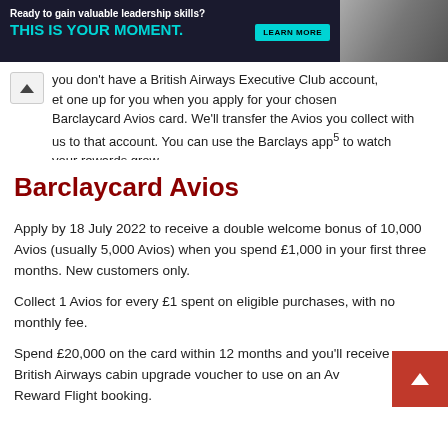[Figure (other): Advertisement banner: 'Ready to gain valuable leadership skills? THIS IS YOUR MOMENT.' with a LEARN MORE button and a photo of a person on the right.]
you don't have a British Airways Executive Club account, set one up for you when you apply for your chosen Barclaycard Avios card. We'll transfer the Avios you collect with us to that account. You can use the Barclays app⁵ to watch your rewards grow.
Barclaycard Avios
Apply by 18 July 2022 to receive a double welcome bonus of 10,000 Avios (usually 5,000 Avios) when you spend £1,000 in your first three months. New customers only.
Collect 1 Avios for every £1 spent on eligible purchases, with no monthly fee.
Spend £20,000 on the card within 12 months and you'll receive a British Airways cabin upgrade voucher to use on an Av… Reward Flight booking.